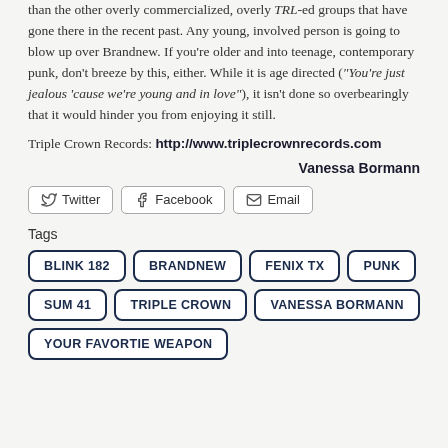than the other overly commercialized, overly TRL-ed groups that have gone there in the recent past. Any young, involved person is going to blow up over Brandnew. If you're older and into teenage, contemporary punk, don't breeze by this, either. While it is age directed ("You're just jealous 'cause we're young and in love"), it isn't done so overbearingly that it would hinder you from enjoying it still.
Triple Crown Records: http://www.triplecrownrecords.com
Vanessa Bormann
Tags
BLINK 182
BRANDNEW
FENIX TX
PUNK
SUM 41
TRIPLE CROWN
VANESSA BORMANN
YOUR FAVORTIE WEAPON